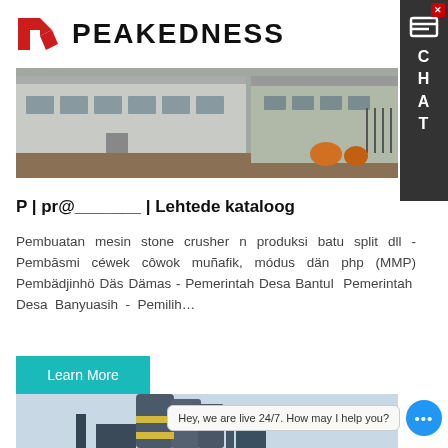[Figure (logo): Peakedness company logo with red arrow/P icon and bold PEAKEDNESS text]
[Figure (photo): Industrial building/factory exterior with grey metal facade, construction site in foreground]
P | pr@_______ | Lehtede kataloog
Pembuatan mesin stone crusher n produksi batu split dll - Pembāsmi céwek côwok muñafik, módus dän php (MMP) Pembädjinhö Däs Dämas - Pemerintah Desa Bantul Pemerintah Desa Banyuasih - Pemilih…
[Figure (screenshot): Teal/cyan Learn More button]
[Figure (photo): Industrial cement silos / mixing plant equipment photo]
Hey, we are live 24/7. How may I help you?